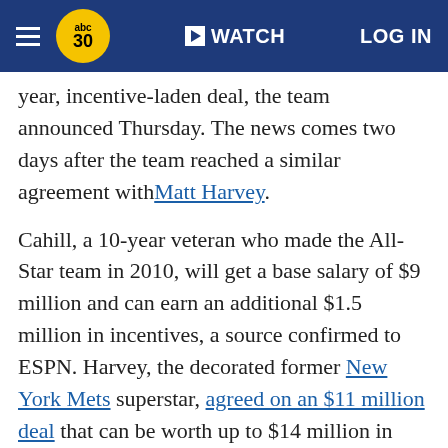abc30 WATCH LOG IN
year, incentive-laden deal, the team announced Thursday. The news comes two days after the team reached a similar agreement with Matt Harvey.
Cahill, a 10-year veteran who made the All-Star team in 2010, will get a base salary of $9 million and can earn an additional $1.5 million in incentives, a source confirmed to ESPN. Harvey, the decorated former New York Mets superstar, agreed on an $11 million deal that can be worth up to $14 million in incentives. Harvey's deal is still pending a physical.
Cahill can earn $1.5 million in performance bonuses based on innings: $250,000 each for 100, 110, 120 and 130, and $500,000 for 170. He would get a